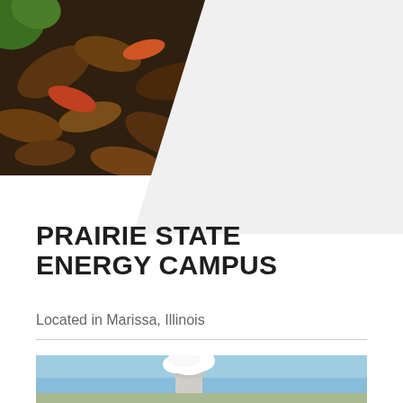[Figure (photo): Autumn leaves and mulch on the ground with a metal wheel or ring visible in the upper right corner — an outdoor photo likely taken at an energy campus]
PRAIRIE STATE ENERGY CAMPUS
Located in Marissa, Illinois
[Figure (photo): Partial view of a power plant cooling tower emitting white steam against a blue sky]